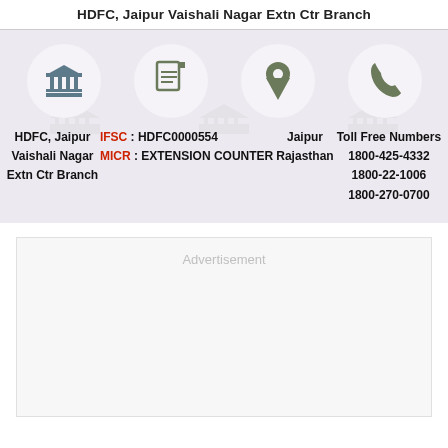HDFC, Jaipur Vaishali Nagar Extn Ctr Branch
[Figure (infographic): Four circular icons in a row: bank/institution icon, document/IFSC icon, location pin icon, telephone icon]
HDFC, Jaipur Vaishali Nagar Extn Ctr Branch | IFSC: HDFC0000554 | MICR: EXTENSION COUNTER | Jaipur, Rajasthan | Toll Free Numbers: 1800-425-4332, 1800-22-1006, 1800-270-0700
Advertisement